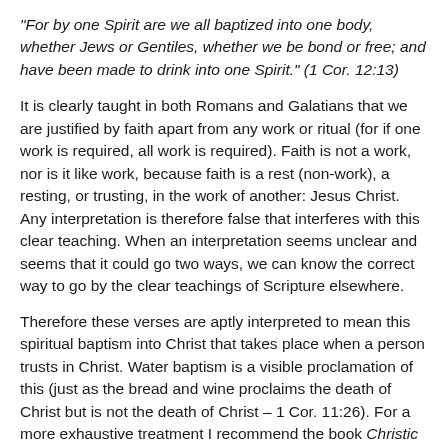“For by one Spirit are we all baptized into one body, whether Jews or Gentiles, whether we be bond or free; and have been made to drink into one Spirit.” (1 Cor. 12:13)
It is clearly taught in both Romans and Galatians that we are justified by faith apart from any work or ritual (for if one work is required, all work is required). Faith is not a work, nor is it like work, because faith is a rest (non-work), a resting, or trusting, in the work of another: Jesus Christ. Any interpretation is therefore false that interferes with this clear teaching. When an interpretation seems unclear and seems that it could go two ways, we can know the correct way to go by the clear teachings of Scripture elsewhere.
Therefore these verses are aptly interpreted to mean this spiritual baptism into Christ that takes place when a person trusts in Christ. Water baptism is a visible proclamation of this (just as the bread and wine proclaims the death of Christ but is not the death of Christ – 1 Cor. 11:26). For a more exhaustive treatment I recommend the book Christic and Patristic Baptism by Dr. James W. Dale.